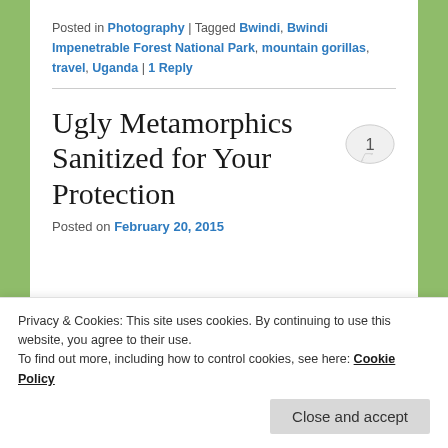Posted in Photography | Tagged Bwindi, Bwindi Impenetrable Forest National Park, mountain gorillas, travel, Uganda | 1 Reply
Ugly Metamorphics Sanitized for Your Protection
Posted on February 20, 2015
Privacy & Cookies: This site uses cookies. By continuing to use this website, you agree to their use.
To find out more, including how to control cookies, see here: Cookie Policy